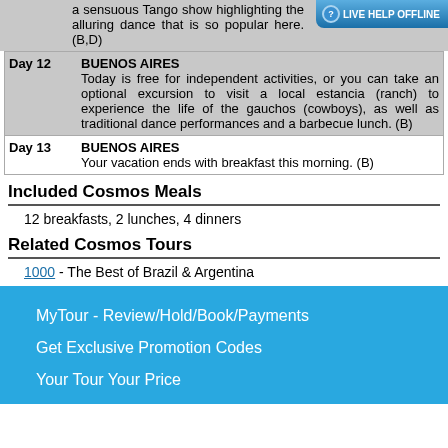a sensuous Tango show highlighting the alluring dance that is so popular here. (B,D)
| Day 12 | BUENOS AIRES | Today is free for independent activities, or you can take an optional excursion to visit a local estancia (ranch) to experience the life of the gauchos (cowboys), as well as traditional dance performances and a barbecue lunch. (B) |
| Day 13 | BUENOS AIRES | Your vacation ends with breakfast this morning. (B) |
Included Cosmos Meals
12 breakfasts, 2 lunches, 4 dinners
Related Cosmos Tours
1000 - The Best of Brazil & Argentina
MyTour - Review/Hold/Book/Payments
Get Exclusive Promotion Codes
Your Tour Your Price